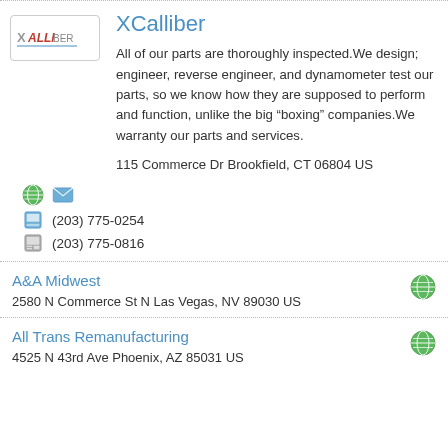[Figure (logo): XCalliber company logo with X and stylized text]
XCalliber
All of our parts are thoroughly inspected.We design; engineer, reverse engineer, and dynamometer test our parts, so we know how they are supposed to perform and function, unlike the big “boxing” companies.We warranty our parts and services.
115 Commerce Dr Brookfield, CT 06804 US
(203) 775-0254
(203) 775-0816
A&A Midwest
2580 N Commerce St N Las Vegas, NV 89030 US
All Trans Remanufacturing
4525 N 43rd Ave Phoenix, AZ 85031 US